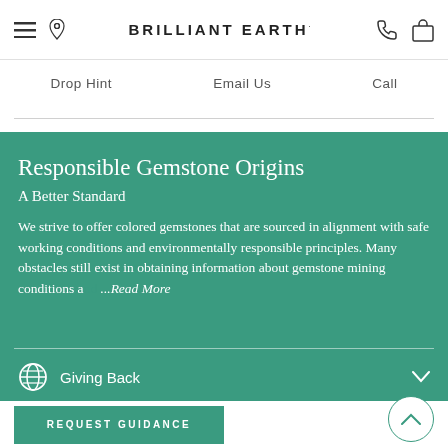BRILLIANT EARTH
Drop Hint   Email Us   Call
Responsible Gemstone Origins
A Better Standard
We strive to offer colored gemstones that are sourced in alignment with safe working conditions and environmentally responsible principles. Many obstacles still exist in obtaining information about gemstone mining conditions a...Read More
Giving Back
REQUEST GUIDANCE